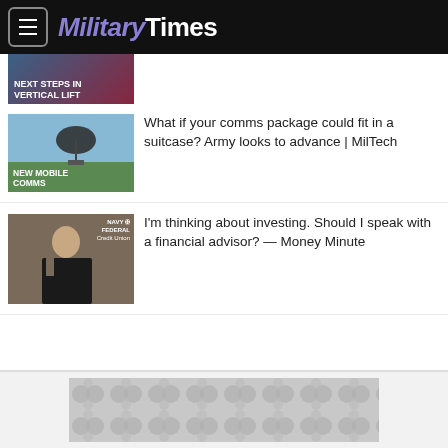MilitaryTimes
[Figure (screenshot): Thumbnail image for vertical lift article with text NEXT STEPS IN VERTICAL LIFT]
[Figure (screenshot): Thumbnail image for mobile comms article with satellite dish and text NEW MOBILE COMMS]
What if your comms package could fit in a suitcase? Army looks to advance | MilTech
[Figure (screenshot): Thumbnail image for Navy Federal Credit Union Money Minute video with woman in black]
I'm thinking about investing. Should I speak with a financial advisor? — Money Minute
[Figure (screenshot): Advertisement banner with grey circular pattern design]